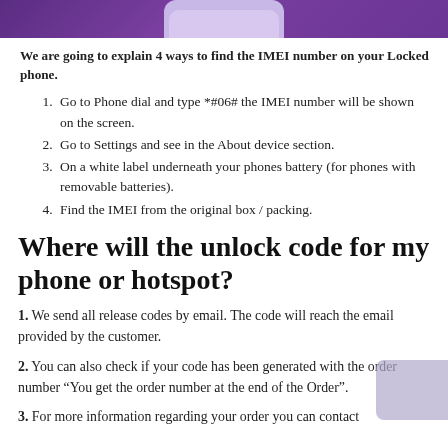[Figure (illustration): Purple/violet background header image showing top portion of a smartphone]
We are going to explain 4 ways to find the IMEI number on your Locked phone.
1. Go to Phone dial and type *#06# the IMEI number will be shown on the screen.
2. Go to Settings and see in the About device section.
3. On a white label underneath your phones battery (for phones with removable batteries).
4. Find the IMEI from the original box / packing.
Where will the unlock code for my phone or hotspot?
1. We send all release codes by email. The code will reach the email provided by the customer.
2. You can also check if your code has been generated with the order number “You get the order number at the end of the Order”.
3. For more information regarding your order you can contact